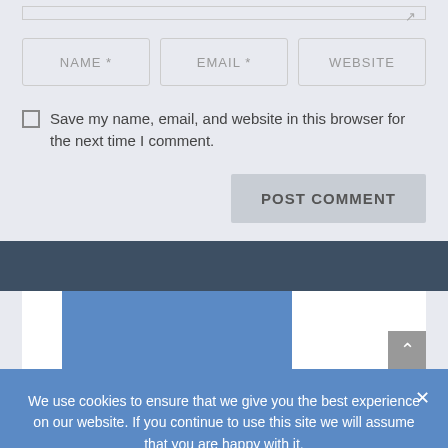[Figure (screenshot): Web form with NAME, EMAIL, WEBSITE input fields, a checkbox for saving browser data, and a POST COMMENT button]
Save my name, email, and website in this browser for the next time I comment.
[Figure (screenshot): Dark blue navigation bar and a white card area with blue image placeholder and scroll-to-top button]
We use cookies to ensure that we give you the best experience on our website. If you continue to use this site we will assume that you are happy with it.
OK  PRIVACY POLICY